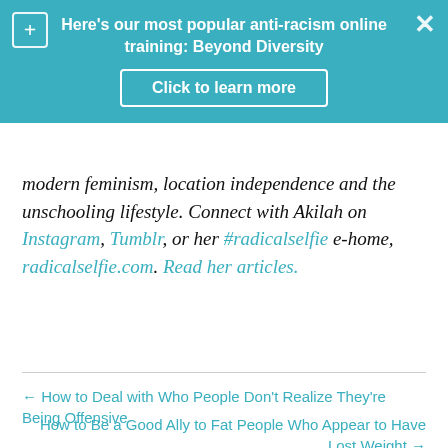[Figure (screenshot): Teal banner popup with plus icon on left, X close icon on right, bold white text 'Here’s our most popular anti-racism online training: Beyond Diversity' and a white-bordered button 'Click to learn more']
modern feminism, location independence and the unschooling lifestyle. Connect with Akilah on Instagram, Tumblr, or her #radicalselfie e-home, radicalselfie.com. Read her articles.
← How to Deal with Who People Don’t Realize They’re Being Offensive
How to Be a Good Ally to Fat People Who Appear to Have Lost Weight →